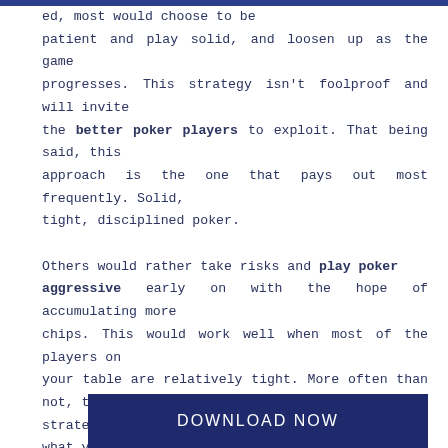ed, most would choose to be patient and play solid, and loosen up as the game progresses. This strategy isn't foolproof and will invite the better poker players to exploit. That being said, this approach is the one that pays out most frequently. Solid, tight, disciplined poker.

Others would rather take risks and play poker aggressive early on with the hope of accumulating more chips. This would work well when most of the players on your table are relatively tight. More often than not, this strategy leads to an early exit. Either way, what you must absolutely ensure to do is keep an eye on the blinds and antes along with your stack size, and stay afloat. Survival is key in Double of Nothing.
DOWNLOAD NOW